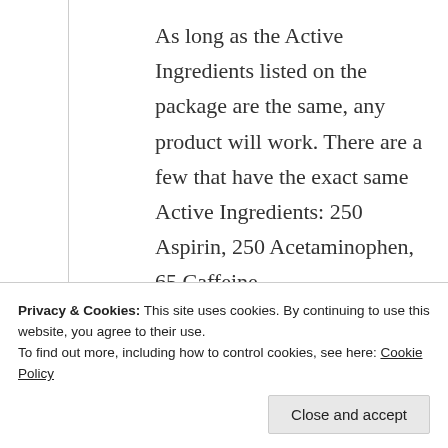As long as the Active Ingredients listed on the package are the same, any product will work. There are a few that have the exact same Active Ingredients: 250 Aspirin, 250 Acetaminophen, 65 Caffeine. Don't let the hype get to you. Buy a generic.
★ Like
Privacy & Cookies: This site uses cookies. By continuing to use this website, you agree to their use. To find out more, including how to control cookies, see here: Cookie Policy
Close and accept
April 4, 2012 at 10:32 pm